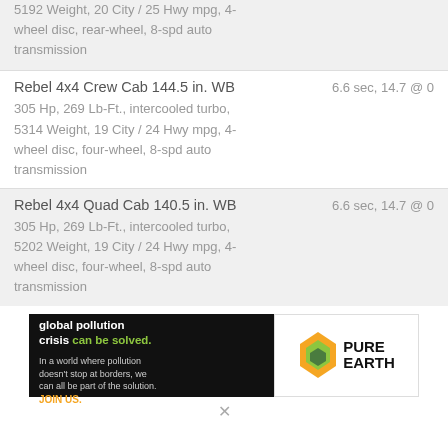5192 Weight, 20 City / 25 Hwy mpg, 4-wheel disc, rear-wheel, 8-spd auto transmission
Rebel 4x4 Crew Cab 144.5 in. WB    6.6 sec, 14.7 @ 0
305 Hp, 269 Lb-Ft., intercooled turbo, 5314 Weight, 19 City / 24 Hwy mpg, 4-wheel disc, four-wheel, 8-spd auto transmission
Rebel 4x4 Quad Cab 140.5 in. WB    6.6 sec, 14.7 @ 0
305 Hp, 269 Lb-Ft., intercooled turbo, 5202 Weight, 19 City / 24 Hwy mpg, 4-wheel disc, four-wheel, 8-spd auto transmission
[Figure (illustration): Pure Earth advertisement banner: 'We believe the global pollution crisis can be solved. In a world where pollution doesn't stop at borders, we can all be part of the solution. JOIN US.' with Pure Earth logo.]